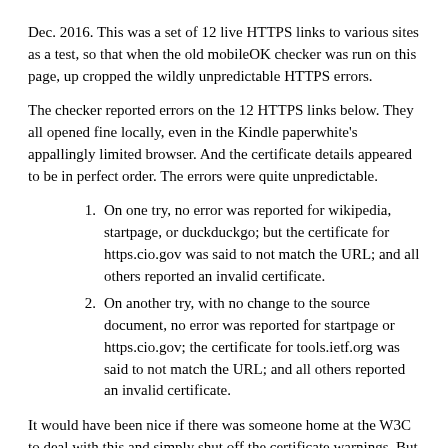Dec. 2016. This was a set of 12 live HTTPS links to various sites as a test, so that when the old mobileOK checker was run on this page, up cropped the wildly unpredictable HTTPS errors.
The checker reported errors on the 12 HTTPS links below. They all opened fine locally, even in the Kindle paperwhite's appallingly limited browser. And the certificate details appeared to be in perfect order. The errors were quite unpredictable.
On one try, no error was reported for wikipedia, startpage, or duckduckgo; but the certificate for https.cio.gov was said to not match the URL; and all others reported an invalid certificate.
On another try, with no change to the source document, no error was reported for startpage or https.cio.gov; the certificate for tools.ietf.org was said to not match the URL; and all others reported an invalid certificate.
It would have been nice if there was someone home at the W3C to deal with this and simply shut off the certificate warnings. But their choice was to shut off the validator entirely. Here are the test https links, but they're no longer live:
en.wikipedia.org